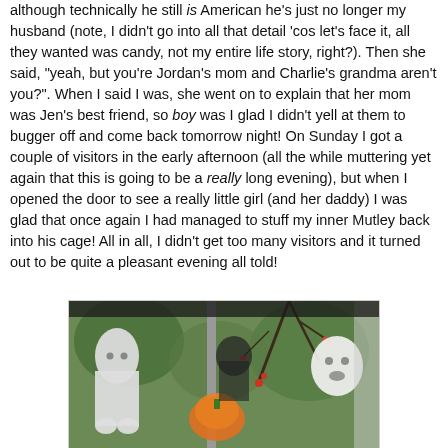although technically he still is American he's just no longer my husband (note, I didn't go into all that detail 'cos let's face it, all they wanted was candy, not my entire life story, right?). Then she said, "yeah, but you're Jordan's mom and Charlie's grandma aren't you?". When I said I was, she went on to explain that her mom was Jen's best friend, so boy was I glad I didn't yell at them to bugger off and come back tomorrow night! On Sunday I got a couple of visitors in the early afternoon (all the while muttering yet again that this is going to be a really long evening), but when I opened the door to see a really little girl (and her daddy) I was glad that once again I had managed to stuff my inner Mutley back into his cage! All in all, I didn't get too many visitors and it turned out to be quite a pleasant evening all told!
[Figure (photo): Halloween decorations outside a house: a ghost figure on the left, orange decorations in the middle, branches, and a white ghost/skull figure on the right, with a dark bar across the top of the image.]